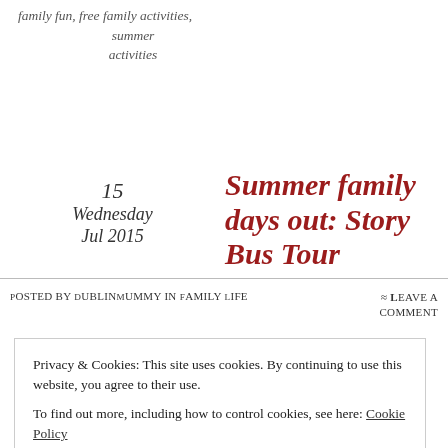family fun, free family activities, summer activities
15 Wednesday Jul 2015
Summer family days out: Story Bus Tour
Posted by DublinMummy in Family Life
≈ Leave a Comment
Privacy & Cookies: This site uses cookies. By continuing to use this website, you agree to their use. To find out more, including how to control cookies, see here: Cookie Policy
Close and accept